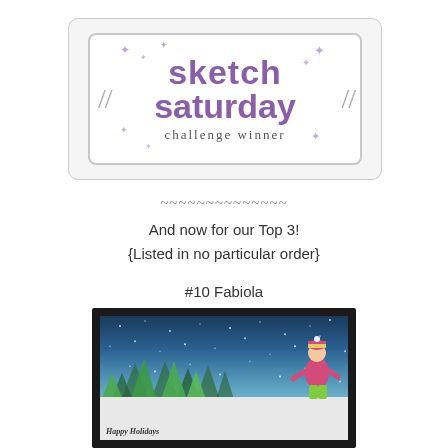[Figure (logo): Sketch Saturday challenge winner badge/logo — purple bold text reading 'sketch saturday' with 'challenge winner' subtitle, decorative snowflakes, inside a rounded rectangle frame with pencil marks]
~~~~~~~~~~~~~~
And now for our Top 3!
{Listed in no particular order}
#10 Fabiola
[Figure (photo): Handmade greeting card with dark frame showing a child in winter clothing (striped hat, pink coat, green pants) ice skating or running through a snowy scene with green pine trees and a blue snowy sky with white dots. Text at bottom reads 'Happy Holidays']